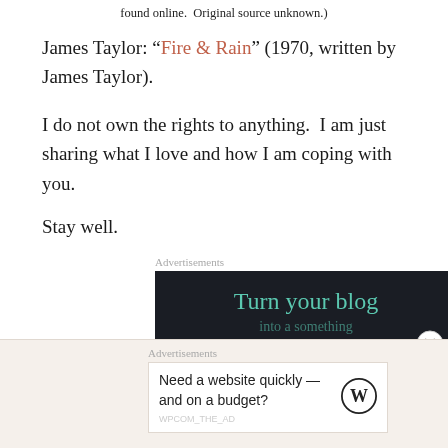found online. Original source unknown.)
James Taylor: “Fire & Rain” (1970, written by James Taylor).
I do not own the rights to anything. I am just sharing what I love and how I am coping with you.
Stay well.
Advertisements
[Figure (other): Dark advertisement banner with teal text reading 'Turn your blog' and partial text below]
Advertisements
[Figure (other): WordPress advertisement: 'Need a website quickly — and on a budget?' with WordPress logo]